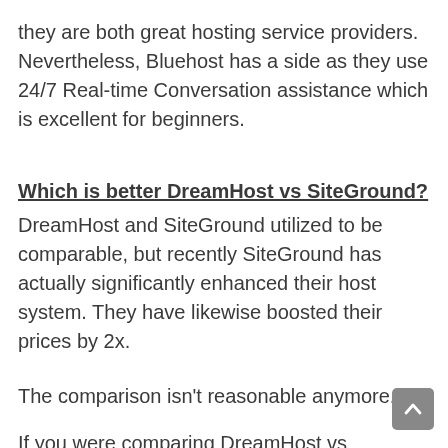they are both great hosting service providers. Nevertheless, Bluehost has a side as they use 24/7 Real-time Conversation assistance which is excellent for beginners.
Which is better DreamHost vs SiteGround?
DreamHost and SiteGround utilized to be comparable, but recently SiteGround has actually significantly enhanced their host system. They have likewise boosted their prices by 2x.
The comparison isn't reasonable anymore.
If you were comparing DreamHost vs SiteGround based upon shared hosting prices, then DreamHost is better.